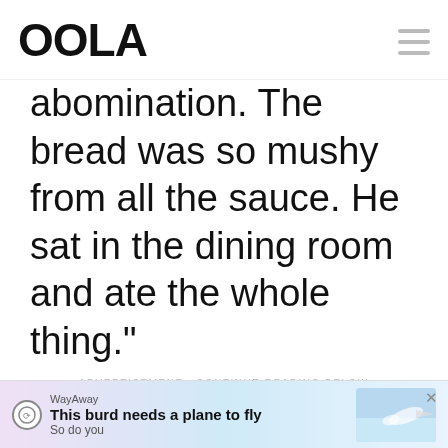OOLA
abomination. The bread was so mushy from all the sauce. He sat in the dining room and ate the whole thing."
- ADVERTISEMENT - CONTINUE READING BELOW -
[Figure (screenshot): WayAway advertisement banner: 'This burd needs a plane to fly / So do you' with illustrated bird/plane graphic and pink-blue gradient background]